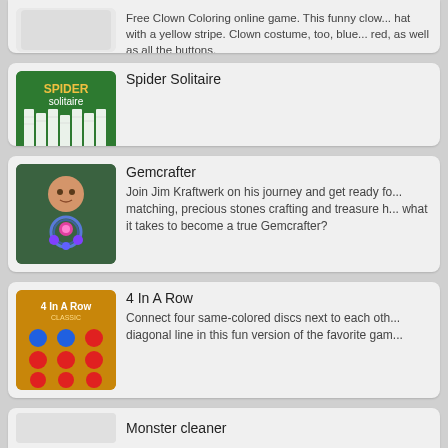Free Clown Coloring online game. This funny clown is wearing a hat with a yellow stripe. Clown costume, too, blue as well as red, as well as all the buttons.
Spider Solitaire
[Figure (screenshot): Spider Solitaire game thumbnail showing card game on green background]
Gemcrafter
[Figure (screenshot): Gemcrafter game thumbnail showing character with glowing gems]
Join Jim Kraftwerk on his journey and get ready for matching, precious stones crafting and treasure hunting. Do what it takes to become a true Gemcrafter?
4 In A Row
[Figure (screenshot): 4 In A Row Classic game thumbnail showing colored discs on gold grid]
Connect four same-colored discs next to each other in a diagonal line in this fun version of the favorite game.
Monster cleaner